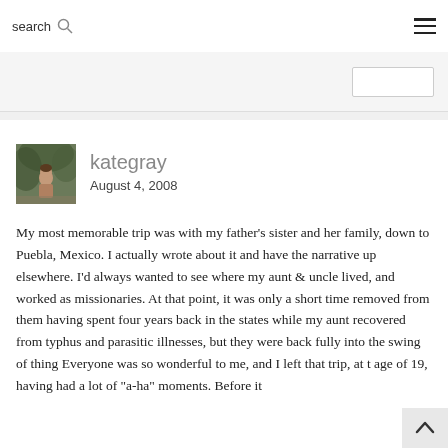search
[Figure (photo): Author avatar thumbnail showing a person outdoors]
kategray
August 4, 2008
My most memorable trip was with my father’s sister and her family, down to Puebla, Mexico. I actually wrote about it and have the narrative up elsewhere. I’d always wanted to see where my aunt & uncle lived, and worked as missionaries. At that point, it was only a short time removed from them having spent four years back in the states while my aunt recovered from typhus and parasitic illnesses, but they were back fully into the swing of thing Everyone was so wonderful to me, and I left that trip, at t age of 19, having had a lot of “a-ha” moments. Before it